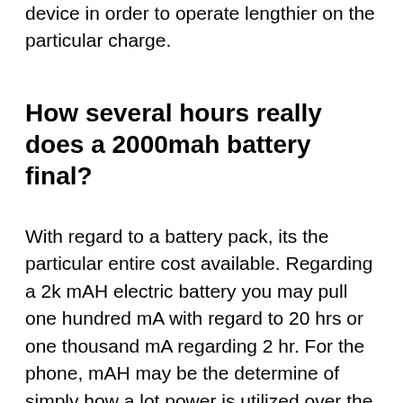device in order to operate lengthier on the particular charge.
How several hours really does a 2000mah battery final?
With regard to a battery pack, its the particular entire cost available. Regarding a 2k mAH electric battery you may pull one hundred mA with regard to 20 hrs or one thousand mA regarding 2 hr. For the phone, mAH may be the determine of simply how a lot power is utilized over the period associated with time. In case it uses a constant 100 mother for twenty hours, this